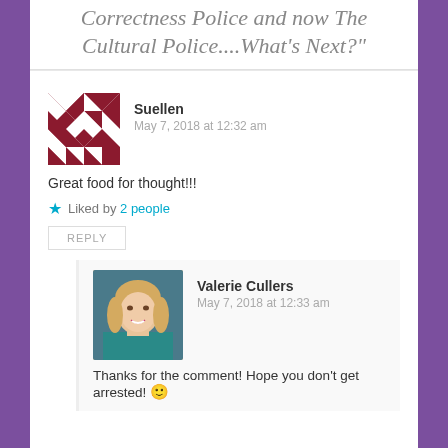Correctness Police and now The Cultural Police....What’s Next?”
Suellen
May 7, 2018 at 12:32 am
Great food for thought!!!
Liked by 2 people
REPLY
Valerie Cullers
May 7, 2018 at 12:33 am
Thanks for the comment! Hope you don’t get arrested! 😐